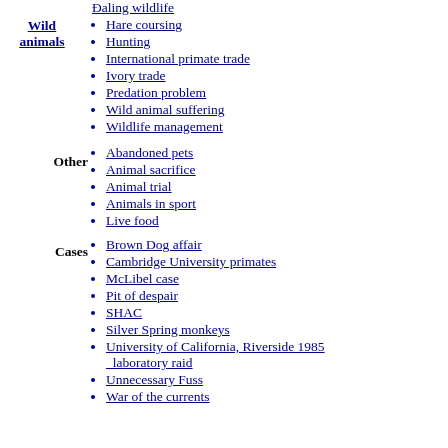Hare coursing
Hunting
International primate trade
Ivory trade
Predation problem
Wild animal suffering
Wildlife management
Abandoned pets
Animal sacrifice
Animal trial
Animals in sport
Live food
Brown Dog affair
Cambridge University primates
McLibel case
Pit of despair
SHAC
Silver Spring monkeys
University of California, Riverside 1985 laboratory raid
Unnecessary Fuss
War of the currents